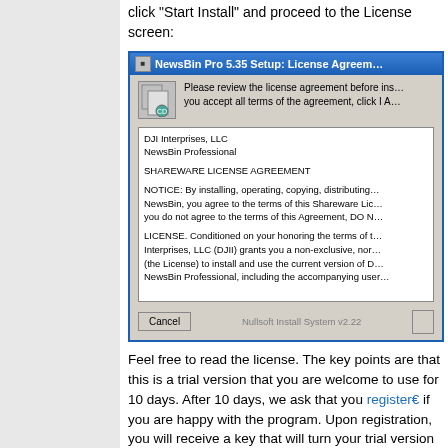click "Start Install" and proceed to the License screen:
[Figure (screenshot): NewsBin Pro 5.35 Setup: License Agreement dialog window showing titlebar, icon, header text, license agreement text box with SHAREWARE LICENSE AGREEMENT, Cancel button, and Nullsoft Install System v2.22 label]
Feel free to read the license. The key points are that this is a trial version that you are welcome to use for 10 days. After 10 days, we ask that you register if you are happy with the program. Upon registration, you will receive a key that will turn your trial version into the